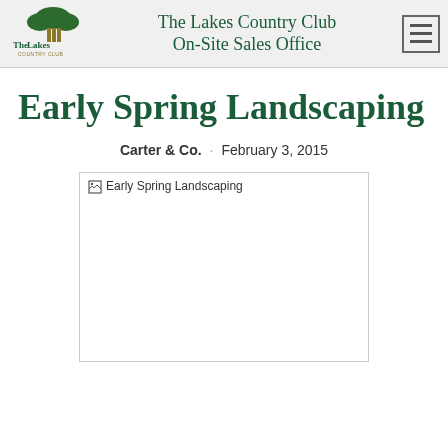The Lakes Country Club On-Site Sales Office
Early Spring Landscaping
Carter & Co.  ·  February 3, 2015
[Figure (photo): Early Spring Landscaping image placeholder — image failed to load, showing alt text 'Early Spring Landscaping']